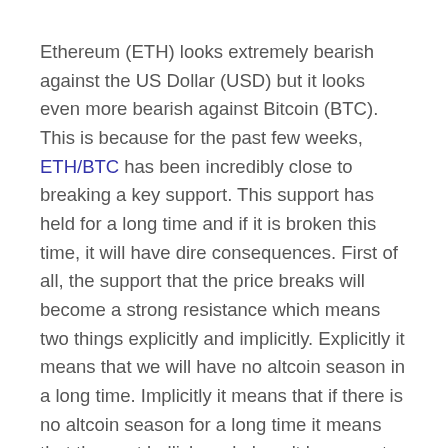Ethereum (ETH) looks extremely bearish against the US Dollar (USD) but it looks even more bearish against Bitcoin (BTC). This is because for the past few weeks, ETH/BTC has been incredibly close to breaking a key support. This support has held for a long time and if it is broken this time, it will have dire consequences. First of all, the support that the price breaks will become a strong resistance which means two things explicitly and implicitly. Explicitly it means that we will have no altcoin season in a long time. Implicitly it means that if there is no altcoin season for a long time it means that the next bullish cycle hasn't begun yet.
Ethereum (ETH) has long been the leader of